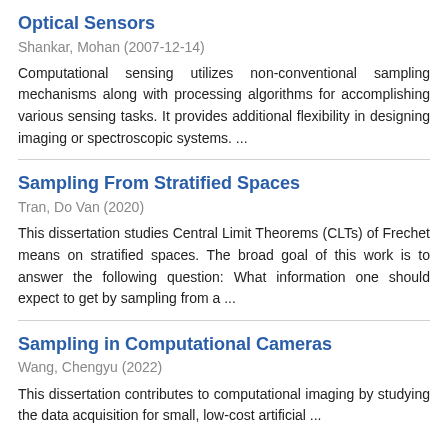Optical Sensors
Shankar, Mohan (2007-12-14)
Computational sensing utilizes non-conventional sampling mechanisms along with processing algorithms for accomplishing various sensing tasks. It provides additional flexibility in designing imaging or spectroscopic systems. ...
Sampling From Stratified Spaces
Tran, Do Van (2020)
This dissertation studies Central Limit Theorems (CLTs) of Frechet means on stratified spaces. The broad goal of this work is to answer the following question: What information one should expect to get by sampling from a ...
Sampling in Computational Cameras
Wang, Chengyu (2022)
This dissertation contributes to computational imaging by studying the data acquisition for small, low-cost artificial ...